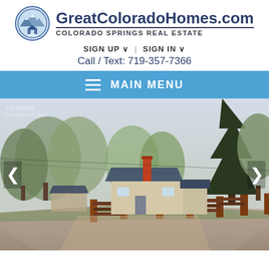[Figure (logo): GreatColoradoHomes.com logo with mountain icon circle and site name]
GreatColoradoHomes.com
COLORADO SPRINGS REAL ESTATE
SIGN UP ∨  |  SIGN IN ∨
Call / Text: 719-357-7366
MAIN MENU
[Figure (photo): Exterior photo of a small residential house with brick chimney, large trees, wooden fence with brick pillars, and gravel driveway. Watermark: PPMLS COPYRIGHT © 2022]